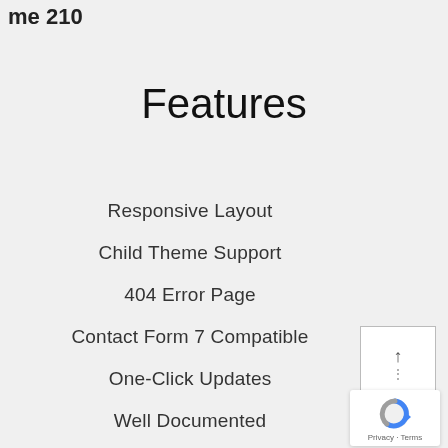me 210
Features
Responsive Layout
Child Theme Support
404 Error Page
Contact Form 7 Compatible
One-Click Updates
Well Documented
Font Awesome Icons Fonts
[Figure (other): Scroll-to-top button widget with upward arrow and dots]
[Figure (other): Google reCAPTCHA badge with logo and Privacy/Terms links]